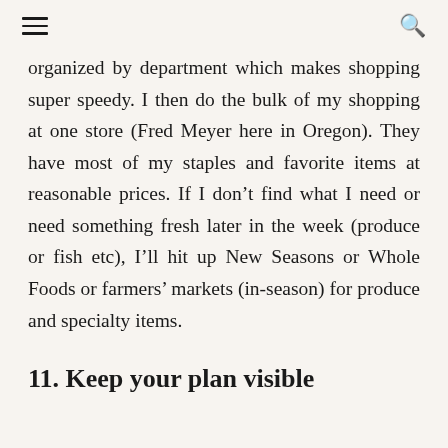≡  🔍
organized by department which makes shopping super speedy. I then do the bulk of my shopping at one store (Fred Meyer here in Oregon). They have most of my staples and favorite items at reasonable prices. If I don't find what I need or need something fresh later in the week (produce or fish etc), I'll hit up New Seasons or Whole Foods or farmers' markets (in-season) for produce and specialty items.
11. Keep your plan visible